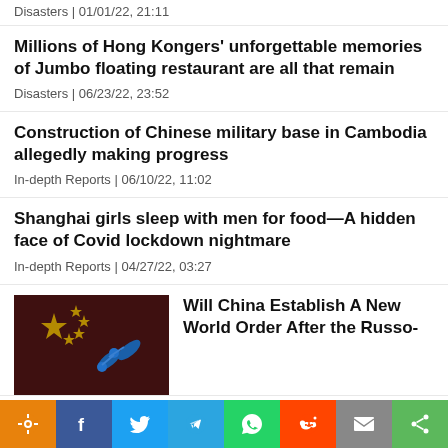Disasters | 01/01/22, 21:11
Millions of Hong Kongers' unforgettable memories of Jumbo floating restaurant are all that remain
Disasters | 06/23/22, 23:52
Construction of Chinese military base in Cambodia allegedly making progress
In-depth Reports | 06/10/22, 11:02
Shanghai girls sleep with men for food—A hidden face of Covid lockdown nightmare
In-depth Reports | 04/27/22, 03:27
[Figure (photo): Chinese flag with dark red background and blue capsules/molecules]
Will China Establish A New World Order After the Russo-